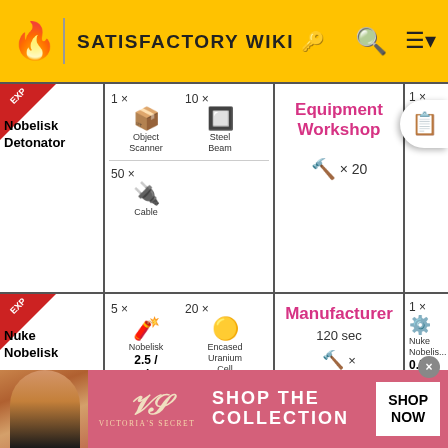SATISFACTORY WIKI
| Item | Ingredients | Building | Product |
| --- | --- | --- | --- |
| EXP Nobelisk Detonator | 1× Object Scanner, 10× Steel Beam, 50× Cable | Equipment Workshop ×20 | 1× Du... |
| EXP Nuke Nobelisk | 5× Nobelisk 2.5/min, 20× Encased Uranium Cell 10/min | Manufacturer 120 sec | 1× Nuke Nobelisk 0.5/min 6600 MJ/item |
[Figure (screenshot): Victoria's Secret advertisement banner at bottom of page]